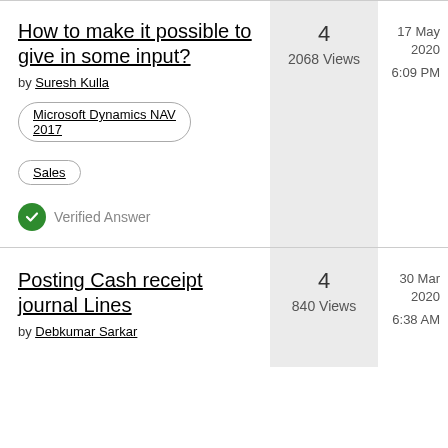How to make it possible to give in some input?
by Suresh Kulla
Microsoft Dynamics NAV 2017
Sales
Verified Answer
4
2068 Views
17 May 2020
6:09 PM
Posting Cash receipt journal Lines
by Debkumar Sarkar
4
840 Views
30 Mar 2020
6:38 AM